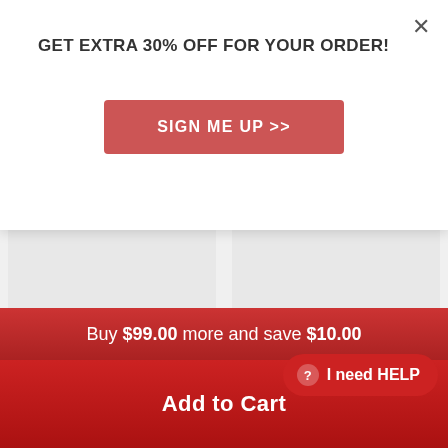GET EXTRA 30% OFF FOR YOUR ORDER!
SIGN ME UP >>
[Figure (screenshot): Product card: Reborn Dolls Baby Clothes Spot Dress for 20"- 22" with Save $15.00 badge]
Reborn Dolls Baby Clothes Spot Dress for 20"- 22"
[Figure (screenshot): Product card: [Pink Style] Adoption Reborn Baby Essentials- with Save $14.00 badge]
[Pink Style] Adoption Reborn Baby Essentials-
Buy $99.00 more and save $10.00
Add to Cart
I need HELP